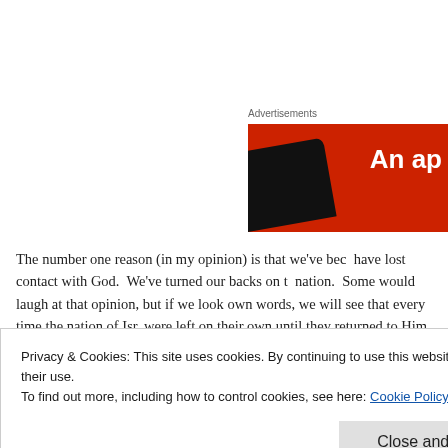[Figure (screenshot): Advertisement banner with red background showing partial text 'An ap' and a dark phone/device image on the left side]
The number one reason (in my opinion) is that we've become lost contact with God.  We've turned our backs on the nation.  Some would laugh at that opinion, but if we look at own words, we will see that every time the nation of Israel were left on their own until they returned to Him again.
Privacy & Cookies: This site uses cookies. By continuing to use this website, you agree to their use.
To find out more, including how to control cookies, see here: Cookie Policy
Close and accept